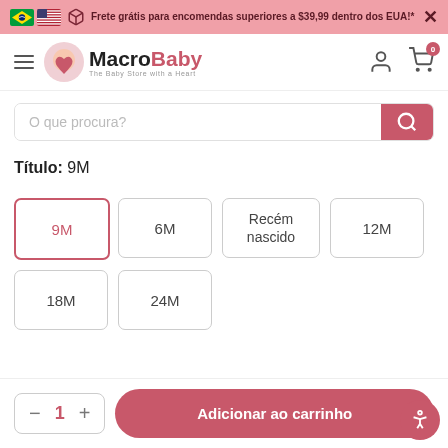Frete grátis para encomendas superiores a $39,99 dentro dos EUA!*
[Figure (logo): MacroBaby logo — The Baby Store with a Heart]
O que procura?
Título: 9M
9M
6M
Recém nascido
12M
18M
24M
Adicionar ao carrinho